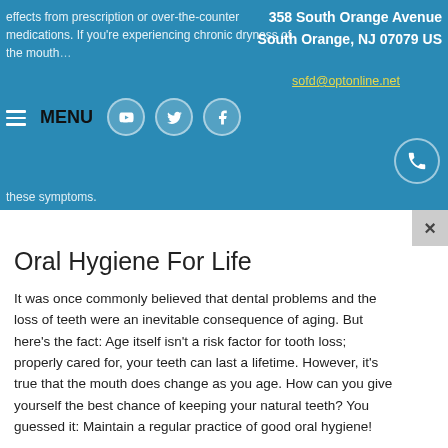effects from prescription or over-the-counter medications. If you're experiencing chronic dryness of the mouth... 358 South Orange Avenue, South Orange, NJ 07079 US, sofd@optonline.net | MENU | social icons | these symptoms.
Oral Hygiene For Life
It was once commonly believed that dental problems and the loss of teeth were an inevitable consequence of aging. But here's the fact: Age itself isn't a risk factor for tooth loss; properly cared for, your teeth can last a lifetime. However, it's true that the mouth does change as you age. How can you give yourself the best chance of keeping your natural teeth? You guessed it: Maintain a regular practice of good oral hygiene!
Brush twice a day with a soft-bristled toothbrush — use one with a special grip, or an electric brush, if it helps. Clean in between your teeth with floss, or another type of interdental cleaner, at least once a day. If you wear dentures, regularly clean and care for them as instructed. Eat healthy foods and drink plenty of water. And don't forget to have regular dental exams so that little problems don't turn